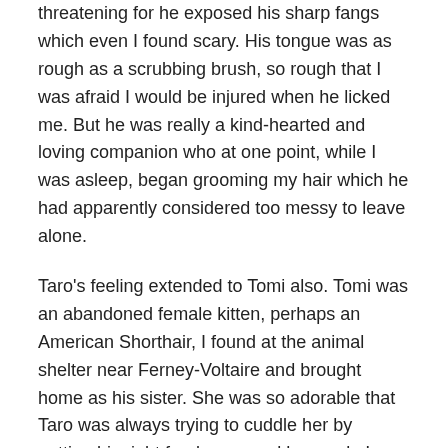threatening for he exposed his sharp fangs which even I found scary.  His tongue was as rough as a scrubbing brush, so rough that I was afraid I would be injured when he licked me. But he was really a kind-hearted and loving companion who at one point, while I was asleep, began grooming my hair which he had apparently considered too messy to leave alone.
Taro's feeling extended to Tomi also.  Tomi was an abandoned female kitten, perhaps an American Shorthair, I found at the animal shelter near Ferney-Voltaire and brought home as his sister.  She was so adorable that Taro was always trying to cuddle her by putting his right foreleg around her neck.  I often saw him licking her forehead, too.  She was also grateful for his affection, but neither she nor I could tolerate getting our sleep disturbed by his overly eager expression of love.  So she was sometimes